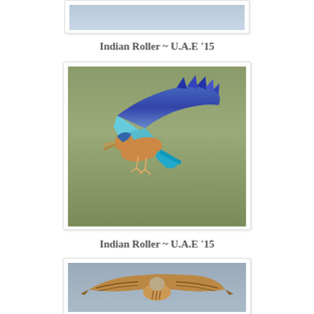[Figure (photo): Indian Roller bird in flight, cropped at top — partial view showing light blue-grey background]
Indian Roller ~ U.A.E '15
[Figure (photo): Indian Roller bird in flight against olive-green blurred background, wings spread showing vivid blue and turquoise feathers, bird facing left with beak open]
Indian Roller ~ U.A.E '15
[Figure (photo): Raptor bird (hawk or harrier) in flight against light grey-blue sky, wings spread, brown and buff plumage, partially cropped at bottom]